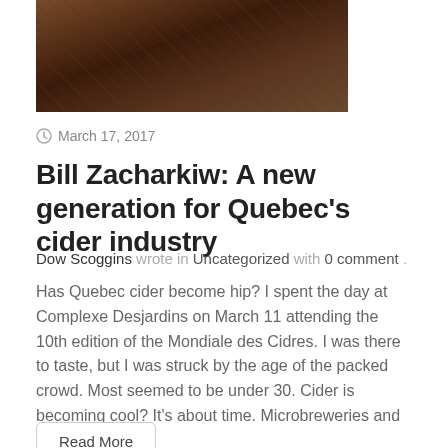[Figure (photo): Dark reddish-brown decorative image, partially visible at the top of the page]
March 17, 2017
Bill Zacharkiw: A new generation for Quebec's cider industry
Dow Scoggins wrote in Uncategorized with 0 comment .
Has Quebec cider become hip? I spent the day at Complexe Desjardins on March 11 attending the 10th edition of the Mondiale des Cidres. I was there to taste, but I was struck by the age of the packed crowd. Most seemed to be under 30. Cider is becoming cool? It's about time. Microbreweries and [...]
Read More
[Figure (photo): Green image partially visible at the bottom of the page]